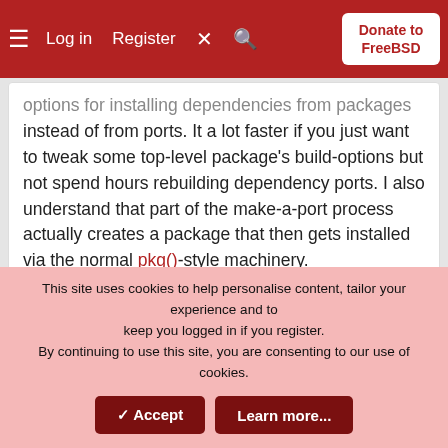Log in  Register  Donate to FreeBSD
options for installing dependencies from packages instead of from ports. It a lot faster if you just want to tweak some top-level package's build-options but not spend hours rebuilding dependency ports. I also understand that part of the make-a-port process actually creates a package that then gets installed via the normal pkg()-style machinery.
ShelLuser
May 22, 2018  Thread Starter  #6
Gumnos said: